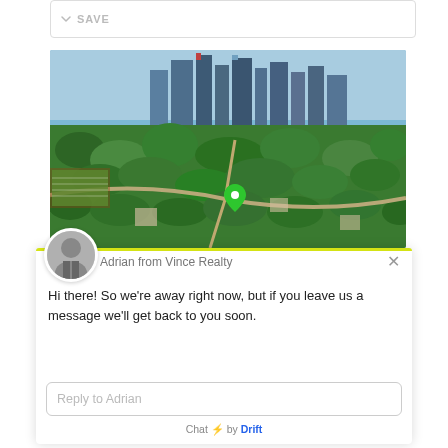[Figure (screenshot): Top bar UI element with SAVE button showing a downward chevron icon]
[Figure (photo): Aerial drone photograph of an urban area showing Austin Texas skyline in the background with dense tree canopy in the foreground, a green map pin marker visible in the center]
[Figure (screenshot): Chat widget from Drift showing agent Adrian from Vince Realty with an avatar photo, a close X button, a message, a reply input field, and a Chat by Drift footer]
Hi there! So we're away right now, but if you leave us a message we'll get back to you soon.
Reply to Adrian
Chat ⚡ by Drift